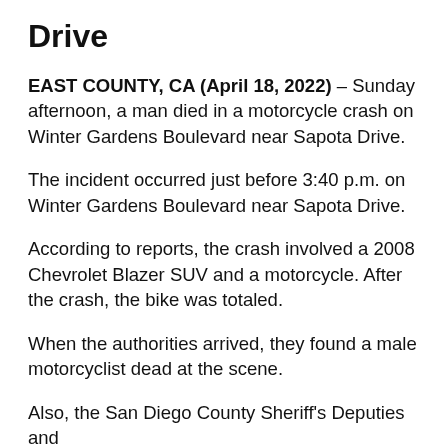Drive
EAST COUNTY, CA (April 18, 2022) – Sunday afternoon, a man died in a motorcycle crash on Winter Gardens Boulevard near Sapota Drive.
The incident occurred just before 3:40 p.m. on Winter Gardens Boulevard near Sapota Drive.
According to reports, the crash involved a 2008 Chevrolet Blazer SUV and a motorcycle. After the crash, the bike was totaled.
When the authorities arrived, they found a male motorcyclist dead at the scene.
Also, the San Diego County Sheriff's Deputies and